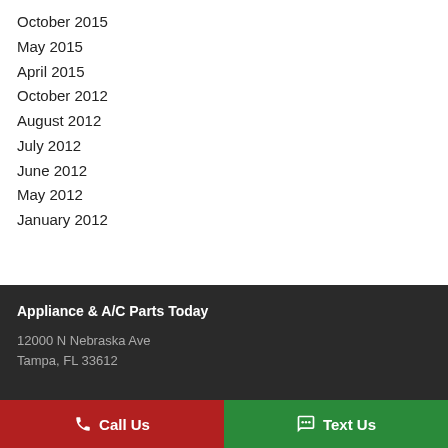October 2015
May 2015
April 2015
October 2012
August 2012
July 2012
June 2012
May 2012
January 2012
Appliance & A/C Parts Today
12000 N Nebraska Ave
Tampa, FL 33612
Call Us
Text Us